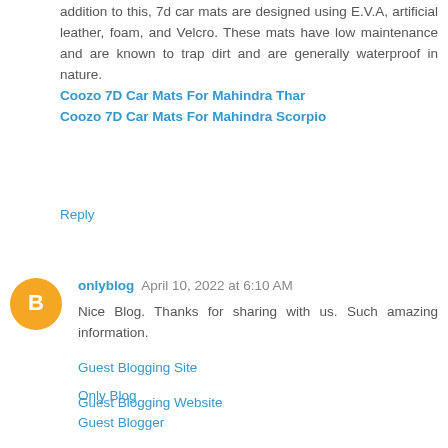addition to this, 7d car mats are designed using E.V.A, artificial leather, foam, and Velcro. These mats have low maintenance and are known to trap dirt and are generally waterproof in nature. Coozo 7D Car Mats For Mahindra Thar Coozo 7D Car Mats For Mahindra Scorpio
Reply
onlyblog April 10, 2022 at 6:10 AM
Nice Blog. Thanks for sharing with us. Such amazing information.
Only Blog
Guest Blogger
Guest Blogging Site
Guest Blogging Website